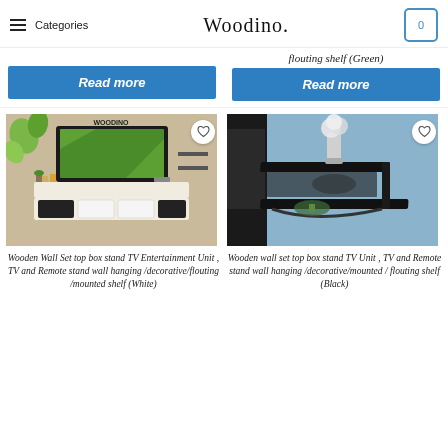Categories  Woodino.  0
flouting shelf (Green)
Read more
Read more
[Figure (photo): Wooden wall-mounted TV entertainment unit with shelves, white color, showing TV, remote stand setup with WOODINO branding]
Wooden Wall Set top box stand TV Entertainment Unit , TV and Remote stand wall hanging /decorative/flouting /mounted shelf (White)
[Figure (photo): Black wooden wall-mounted corner shelf with white vase and flowers on top, set top box below]
Wooden wall set top box stand TV Unit , TV and Remote stand wall hanging /decorative/mounted / flouting shelf (Black)